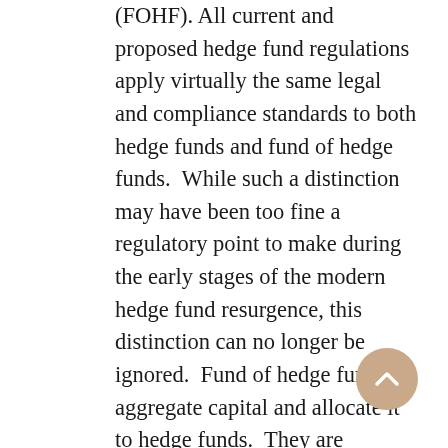(FOHF). All current and proposed hedge fund regulations apply virtually the same legal and compliance standards to both hedge funds and fund of hedge funds.  While such a distinction may have been too fine a regulatory point to make during the early stages of the modern hedge fund resurgence, this distinction can no longer be ignored.  Fund of hedge funds aggregate capital and allocate it to hedge funds.  They are supposed to be performing a certain minimum amount of due diligence (both investment and operational). Unfortunately, as Madoff and the current Ponzimonium have demonstrated, FOHF were not performing such due diligence